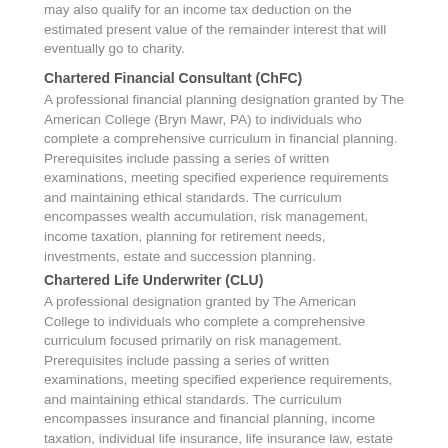may also qualify for an income tax deduction on the estimated present value of the remainder interest that will eventually go to charity.
Chartered Financial Consultant (ChFC)
A professional financial planning designation granted by The American College (Bryn Mawr, PA) to individuals who complete a comprehensive curriculum in financial planning. Prerequisites include passing a series of written examinations, meeting specified experience requirements and maintaining ethical standards. The curriculum encompasses wealth accumulation, risk management, income taxation, planning for retirement needs, investments, estate and succession planning.
Chartered Life Underwriter (CLU)
A professional designation granted by The American College to individuals who complete a comprehensive curriculum focused primarily on risk management. Prerequisites include passing a series of written examinations, meeting specified experience requirements, and maintaining ethical standards. The curriculum encompasses insurance and financial planning, income taxation, individual life insurance, life insurance law, estate and succession planning, and planning for business owners and